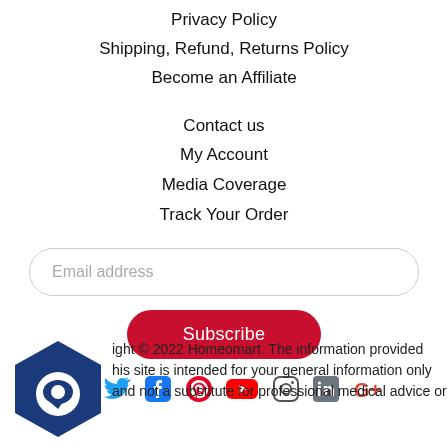Privacy Policy
Shipping, Refund, Returns Policy
Become an Affiliate
Contact us
My Account
Media Coverage
Track Your Order
Email address
Subscribe
[Figure (infographic): Social media icons row: Twitter (blue), Facebook (blue), Pinterest (red), YouTube (red), Instagram (outline), LinkedIn (blue/grey), Google+ (red)]
[Figure (logo): Homeomart hexagon logo, dark blue with white circle/chat icon]
ight © 2022 Homeomart. The information provided his site is intended for your general information only and not a substitute for professional medical advice or